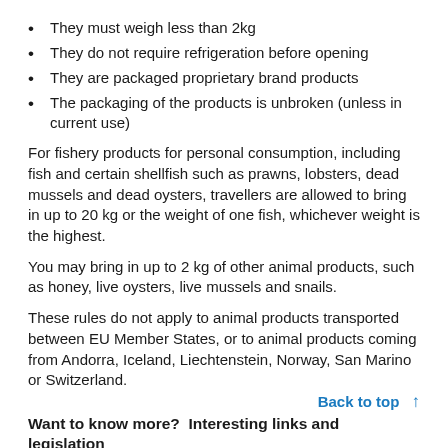They must weigh less than 2kg
They do not require refrigeration before opening
They are packaged proprietary brand products
The packaging of the products is unbroken (unless in current use)
For fishery products for personal consumption, including fish and certain shellfish such as prawns, lobsters, dead mussels and dead oysters, travellers are allowed to bring in up to 20 kg or the weight of one fish, whichever weight is the highest.
You may bring in up to 2 kg of other animal products, such as honey, live oysters, live mussels and snails.
These rules do not apply to animal products transported between EU Member States, or to animal products coming from Andorra, Iceland, Liechtenstein, Norway, San Marino or Switzerland.
Back to top ↑
Want to know more?  Interesting links and legislation